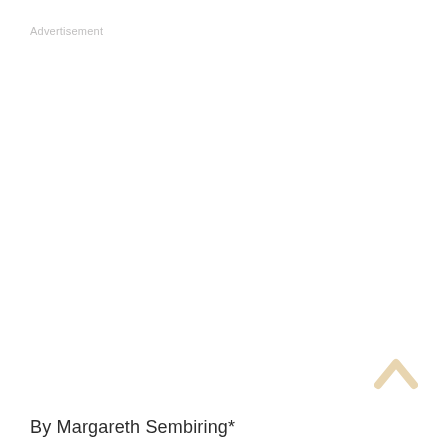Advertisement
[Figure (other): Scroll-to-top chevron arrow icon in light tan/beige color, positioned at the bottom right of the page]
By Margareth Sembiring*